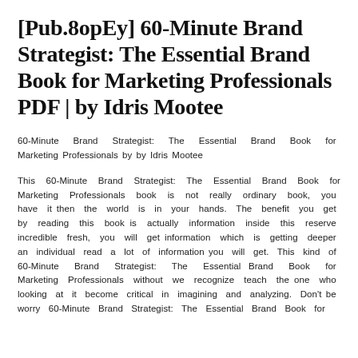[Pub.8opEy] 60-Minute Brand Strategist: The Essential Brand Book for Marketing Professionals PDF | by Idris Mootee
60-Minute Brand Strategist: The Essential Brand Book for Marketing Professionals by by Idris Mootee
This 60-Minute Brand Strategist: The Essential Brand Book for Marketing Professionals book is not really ordinary book, you have it then the world is in your hands. The benefit you get by reading this book is actually information inside this reserve incredible fresh, you will get information which is getting deeper an individual read a lot of information you will get. This kind of 60-Minute Brand Strategist: The Essential Brand Book for Marketing Professionals without we recognize teach the one who looking at it become critical in imagining and analyzing. Don't be worry 60-Minute Brand Strategist: The Essential Brand Book for